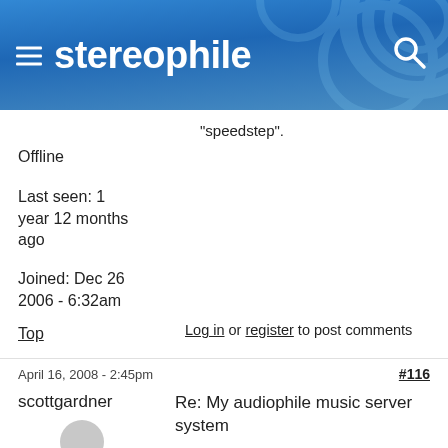stereophile
"speedstep".
Offline
Last seen: 1 year 12 months ago
Joined: Dec 26 2006 - 6:32am
Top
Log in or register to post comments
April 16, 2008 - 2:45pm
#116
scottgardner
Re: My audiophile music server system